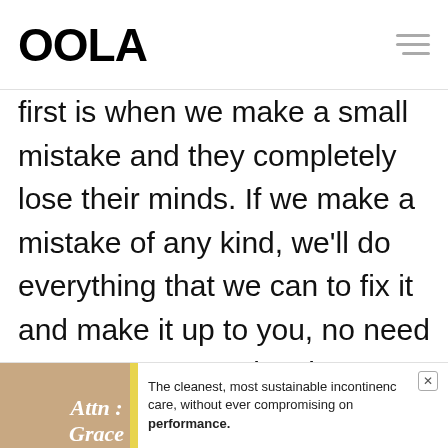OOLA
first is when we make a small mistake and they completely lose their minds. If we make a mistake of any kind, we'll do everything that we can to fix it and make it up to you, no need to cause a scene just because we forgot to give you a fork. The second is when customers
[Figure (infographic): Advertisement banner for Attn:Grace incontinence care product. Shows a person image on the left with brand name 'Attn: Grace' and text 'The cleanest, most sustainable incontinence care, without ever compromising on performance.' with a close button.]